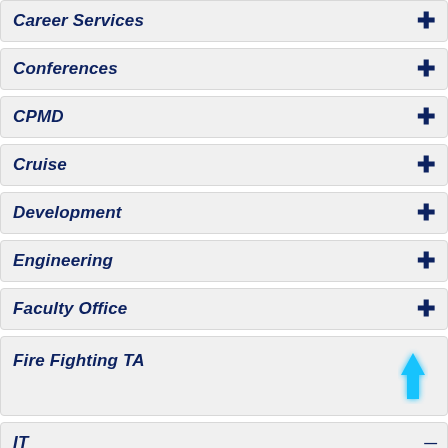Career Services
Conferences
CPMD
Cruise
Development
Engineering
Faculty Office
Fire Fighting TA
IT
Library
Marine Transportation